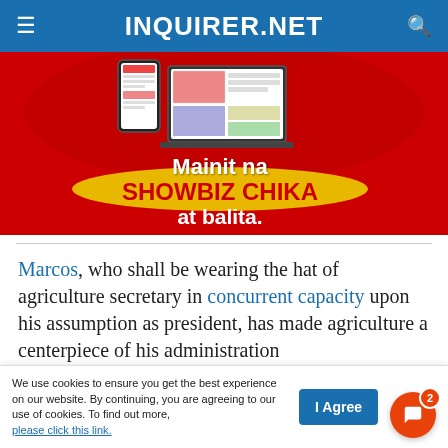INQUIRER.NET
[Figure (illustration): Advertisement banner with red background, showing a phone and laptop with news content, text reads 'Mainit na SHOWBIZ CHIKA at balita.']
Marcos, who shall be wearing the hat of agriculture secretary in concurrent capacity upon his assumption as president, has made agriculture a centerpiece of his administration
We use cookies to ensure you get the best experience on our website. By continuing, you are agreeing to our use of cookies. To find out more, please click this link.